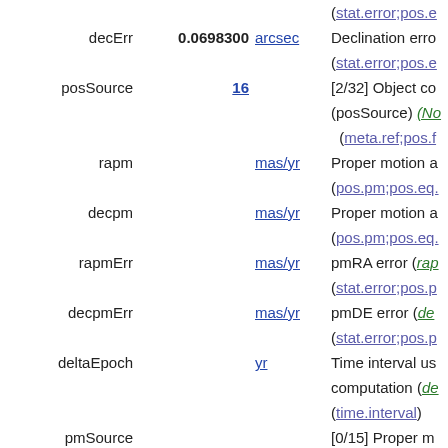| Name | Value | Unit | Description |
| --- | --- | --- | --- |
| decErr | 0.0698300 | arcsec | Declination error (stat.error;pos.e... |
| posSource | 16 |  | [2/32] Object co... (posSource) (No... (meta.ref;pos.f... |
| rapm |  | mas/yr | Proper motion a... (pos.pm;pos.eq.... |
| decpm |  | mas/yr | Proper motion a... (pos.pm;pos.eq.... |
| rapmErr |  | mas/yr | pmRA error (rap... (stat.error;pos.p... |
| decpmErr |  | mas/yr | pmDE error (de... (stat.error;pos.p... |
| deltaEpoch |  | yr | Time interval us... computation (de... (time.interval) |
| pmSource |  |  | [0/15] Proper m... (pmSource) (No... (meta.ref;pos.f... |
| parallax |  | mas | Parallax (paralla... |
| plxErr |  | mas | Parallax error (p... (stat.error;pos.p... |